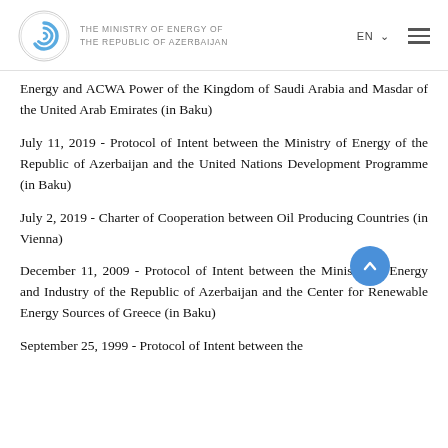THE MINISTRY OF ENERGY OF THE REPUBLIC OF AZERBAIJAN
Energy and ACWA Power of the Kingdom of Saudi Arabia and Masdar of the United Arab Emirates (in Baku)
July 11, 2019 - Protocol of Intent between the Ministry of Energy of the Republic of Azerbaijan and the United Nations Development Programme (in Baku)
July 2, 2019 - Charter of Cooperation between Oil Producing Countries (in Vienna)
December 11, 2009 - Protocol of Intent between the Ministry of Energy and Industry of the Republic of Azerbaijan and the Center for Renewable Energy Sources of Greece (in Baku)
September 25, 1999 - Protocol of Intent between the...